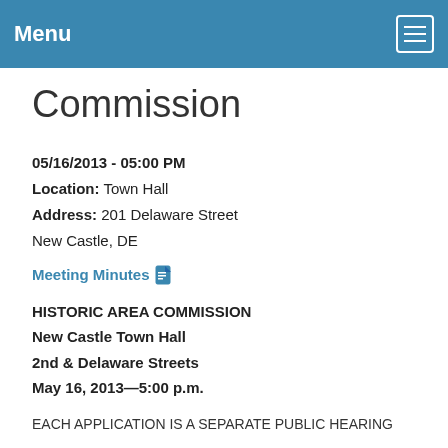Menu
Commission
05/16/2013 - 05:00 PM
Location: Town Hall
Address: 201 Delaware Street
New Castle, DE
Meeting Minutes
HISTORIC AREA COMMISSION
New Castle Town Hall
2nd & Delaware Streets
May 16, 2013—5:00 p.m.
EACH APPLICATION IS A SEPARATE PUBLIC HEARING
AGENDA
Roll Call Discussion of administrative matters